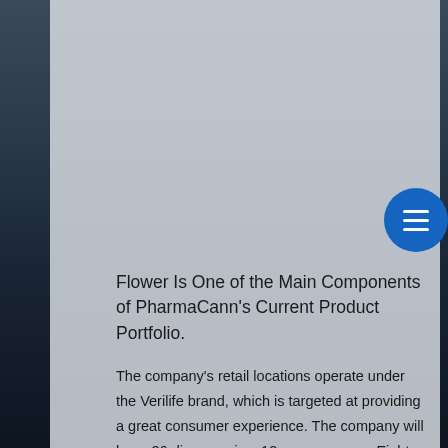Flower Is One of the Main Components of PharmaCann's Current Product Portfolio.
The company's retail locations operate under the Verilife brand, which is targeted at providing a great consumer experience. The company will have 26 dispensaries–12 are open now. Eight dispensaries will be located in Illinois, one in Ohio, one in Maryland, nine in Pennsylvania, four in New York, and three in Massachusetts.
Expansion Opportunities